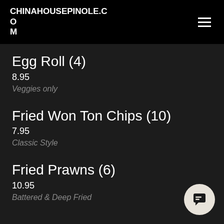CHINAHOUSEPINOLE.COM
Egg Roll (4)
8.95
Veggies only
Fried Won Ton Chips (10)
7.95
Classic Style
Fried Prawns (6)
10.95
Battered & Deep Fried